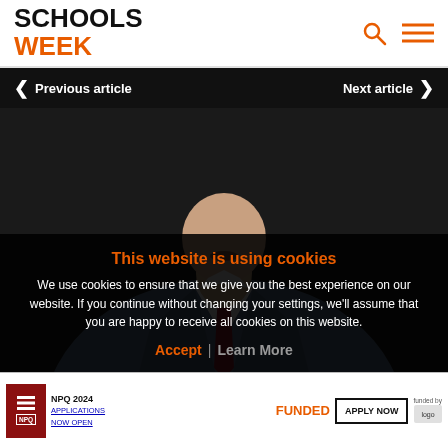SCHOOLS WEEK
Previous article | Next article
[Figure (photo): Close-up photo of a man in a blue suit with white shirt and dark red tie, speaking, cropped to show neck/chin/chest area against dark background]
This website is using cookies
We use cookies to ensure that we give you the best experience on our website. If you continue without changing your settings, we'll assume that you are happy to receive all cookies on this website.
Accept | Learn More
NPQ 2024 APPLICATIONS NOW OPEN FUNDED APPLY NOW Funded by